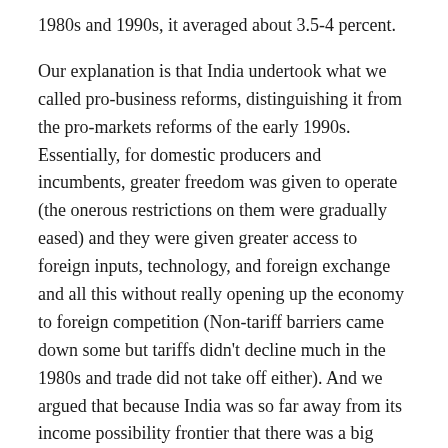1980s and 1990s, it averaged about 3.5-4 percent.
Our explanation is that India undertook what we called pro-business reforms, distinguishing it from the pro-markets reforms of the early 1990s. Essentially, for domestic producers and incumbents, greater freedom was given to operate (the onerous restrictions on them were gradually eased) and they were given greater access to foreign inputs, technology, and foreign exchange and all this without really opening up the economy to foreign competition (Non-tariff barriers came down some but tariffs didn't decline much in the 1980s and trade did not take off either). And we argued that because India was so far away from its income possibility frontier that there was a big bang for relatively modest pro-business reforms.
It didn't hurt that, at the same time, the government